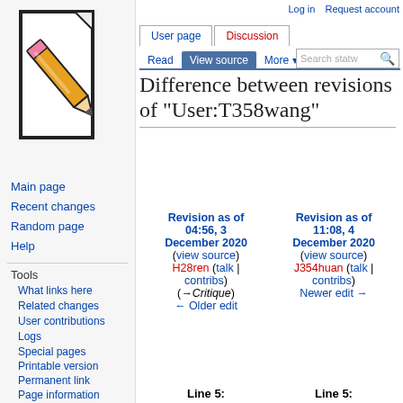[Figure (illustration): Wikipedia-style logo showing a pencil writing on a document page]
Log in   Request account
User page
Discussion
Read
View source
More
Difference between revisions of "User:T358wang"
Main page
Recent changes
Random page
Help
Tools
What links here
Related changes
User contributions
Logs
Special pages
Printable version
Permanent link
Page information
| Revision as of 04:56, 3 December 2020 | Revision as of 11:08, 4 December 2020 |
| --- | --- |
| (view source) | (view source) |
| H28ren (talk | contribs) | J354huan (talk | contribs) |
| (→Critique) | Newer edit → |
| ← Older edit |  |
Line 5:   Line 5: